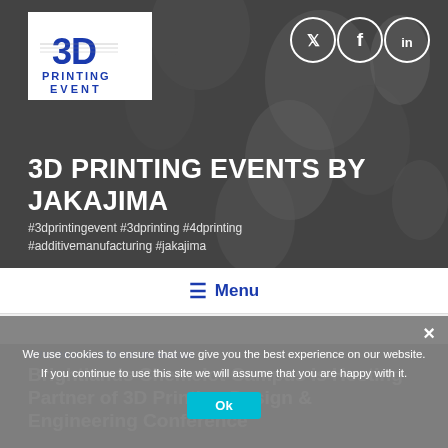[Figure (photo): Hero banner with dark 3D printed objects background, white 3D Printing Event logo, social media icons (Twitter, Facebook, LinkedIn), bold white title text and hashtag tags]
3D PRINTING EVENTS BY JAKAJIMA
#3dprintingevent #3dprinting #4dprinting #additivemanufacturing #jakajima
≡ Menu
07/12/2017 BY PIETER HERMANS
Brightlands Chemelot Campus is Hosting Partner of 3D Printing Design & Engineering Conference
We use cookies to ensure that we give you the best experience on our website. If you continue to use this site we will assume that you are happy with it.